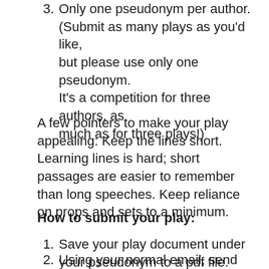3. Only one pseudonym per author. (Submit as many plays as you'd like, but please use only one pseudonym. It's a competition for three authors, as much as for three plays!)
A few pointers to make your play appealing: Keep the lines short. Learning lines is hard; short passages are easier to remember than long speeches. Keep reliance on props and sets to a minimum.
How to submit your play:
1. Save your play document under your pseudonym to a pdf file.
2. Using your normal email, send the pdf of your play to the (new) Tavern Club